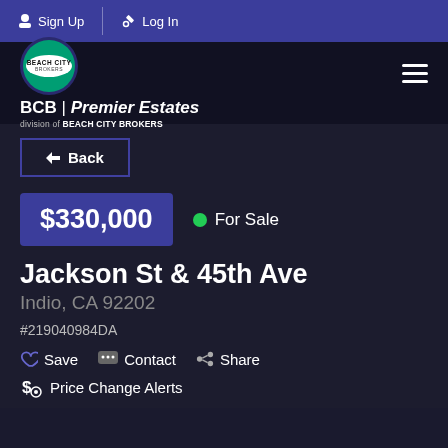Sign Up   Log In
[Figure (logo): Beach City Brokers logo with BCB | Premier Estates branding]
← Back
$330,000  ● For Sale
Jackson St & 45th Ave
Indio, CA 92202
#219040984DA
♡ Save  ⊡ Contact  ◉ Share
$ Price Change Alerts